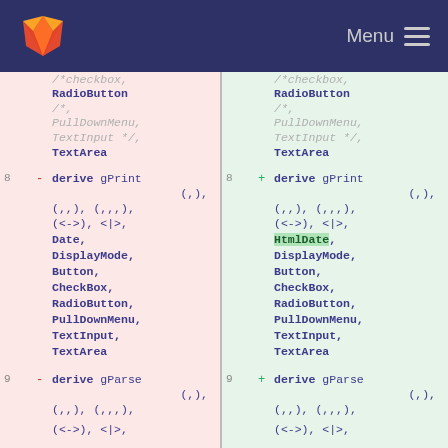GitLab Menu
[Figure (screenshot): Code diff view showing two panels side by side. Left panel (removed, pink background) and right panel (added, green background) showing Haskell derive statements. Line 8 shows 'derive gPrint' with arguments including Date, DisplayMode, Button, CheckBox, RadioButton, PullDownMenu, TextInput, TextArea. Right panel line 8 shows same but with HtmlDate instead of Date. Line 9 shows 'derive gParse' beginning.]